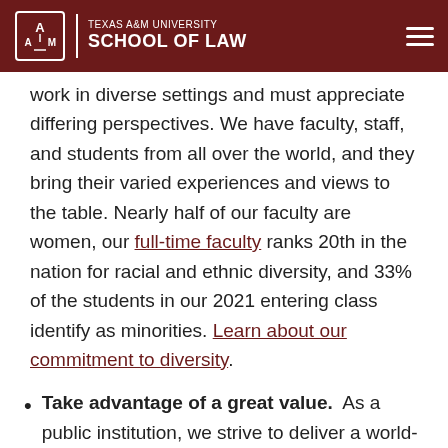Texas A&M University School of Law
work in diverse settings and must appreciate differing perspectives. We have faculty, staff, and students from all over the world, and they bring their varied experiences and views to the table. Nearly half of our faculty are women, our full-time faculty ranks 20th in the nation for racial and ethnic diversity, and 33% of the students in our 2021 entering class identify as minorities. Learn about our commitment to diversity.
Take advantage of a great value. As a public institution, we strive to deliver a world-class legal education while keeping tuition low for Texas residents and non-residents alike. All admitted